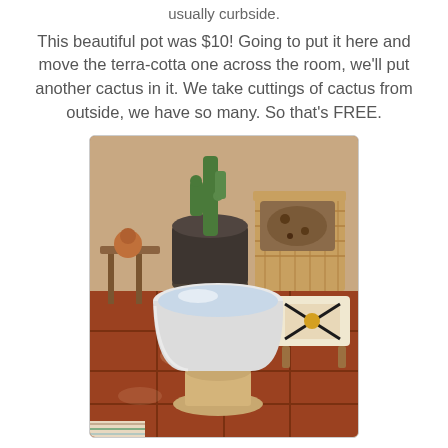usually curbside.
This beautiful pot was $10!  Going to put it here and move the terra-cotta one across the room, we'll put another cactus in it.  We take cuttings of cactus from outside, we have so many.  So that's FREE.
[Figure (photo): Indoor room with terra cotta tile floor. A white ceramic pot on a pedestal base sits in the foreground. Behind it is a large dark pot with a tall cactus, a wooden side table with a decorative figure, a wicker chair with patterned pillows, and a patterned ottoman/stool on small legs.]